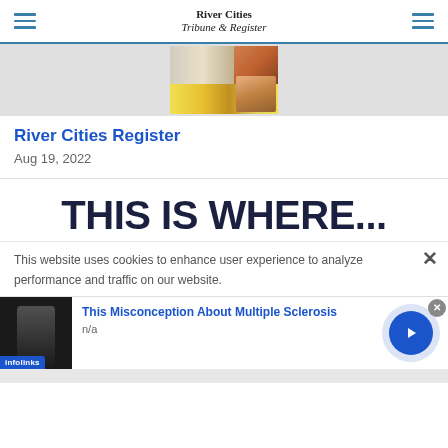River Cities Tribune & Register
[Figure (photo): Thumbnail image of a newspaper/publication advertisement with colorful graphics and people]
River Cities Register
Aug 19, 2022
THIS IS WHERE...
This website uses cookies to enhance user experience to analyze performance and traffic on our website.
[Figure (photo): Advertisement thumbnail showing a person with a knee brace or medical device, with text: This Misconception About Multiple Sclerosis, n/a. Infolinks branding visible.]